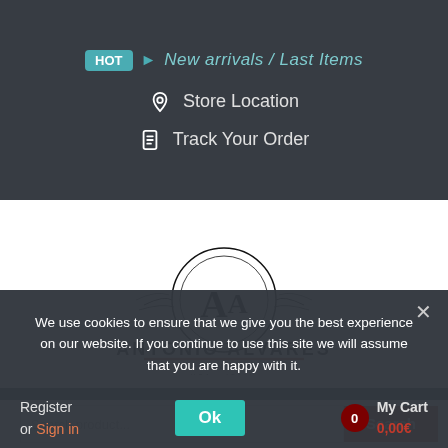HOT → New arrivals / Last Items
Store Location
Track Your Order
[Figure (logo): Antonio Alvares Fitness logo with circular monogram AA, decorative flourishes, text ANTONIO ALVARES FITNESS USA-ITALY]
We use cookies to ensure that we give you the best experience on our website. If you continue to use this site we will assume that you are happy with it.
Ok
Register or Sign in
My Cart 0.00€